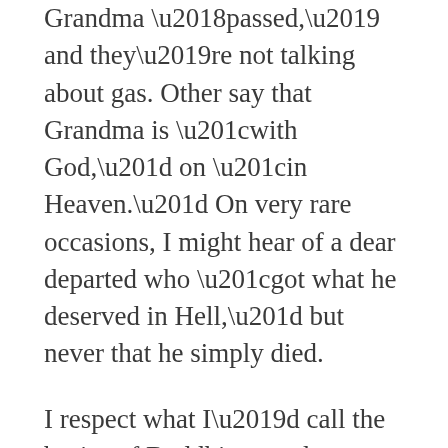Grandma ‘passed,’ and they’re not talking about gas. Other say that Grandma is “with God,” on “in Heaven.” On very rare occasions, I might hear of a dear departed who “got what he deserved in Hell,” but never that he simply died.
I respect what I’d call the basics of Buddhism, and I’ve come to believe in some sort of life after death, but I’m agnostic on its exact form. There are almost as many explanations for karma, reincarnation and the Pure Land as there are Buddhists. My own explanation is vague and doesn’t fit nicely into any pattern.
If I were more ambitious, I’d work out the kinks in my concept of life after death, look for